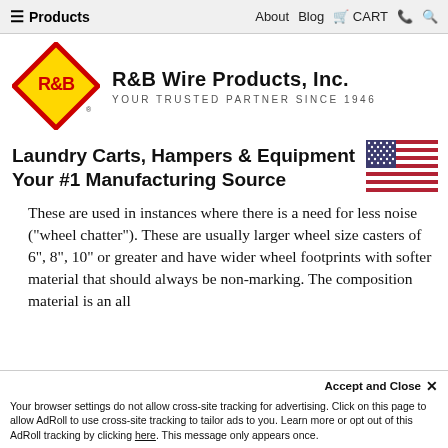☰ Products   About   Blog   🛒 CART   📞   🔍
[Figure (logo): R&B Wire Products Inc. logo — yellow diamond shape with red border containing R&B text in red, alongside company name 'R&B Wire Products, Inc.' and tagline 'Your Trusted Partner Since 1946']
Laundry Carts, Hampers & Equipment Your #1 Manufacturing Source
[Figure (illustration): United States flag]
These are used in instances where there is a need for less noise ("wheel chatter"). These are usually larger wheel size casters of 6", 8", 10" or greater and have wider wheel footprints with softer material that should always be non-marking. The composition material is an all
Accept and Close ✕ Your browser settings do not allow cross-site tracking for advertising. Click on this page to allow AdRoll to use cross-site tracking to tailor ads to you. Learn more or opt out of this AdRoll tracking by clicking here. This message only appears once.